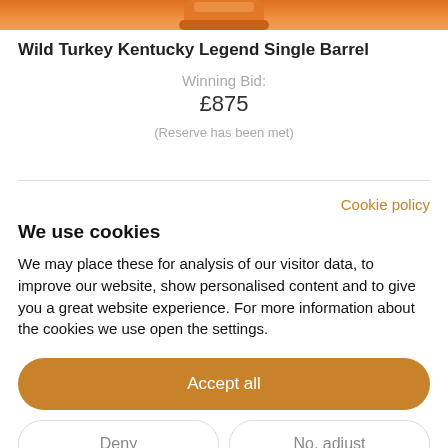[Figure (photo): Partial view of an orange whiskey bottle (Wild Turkey) cropped at the top]
Wild Turkey Kentucky Legend Single Barrel
Winning Bid:
£875
(Reserve has been met)
Cookie policy
We use cookies
We may place these for analysis of our visitor data, to improve our website, show personalised content and to give you a great website experience. For more information about the cookies we use open the settings.
Accept all
Deny
No, adjust